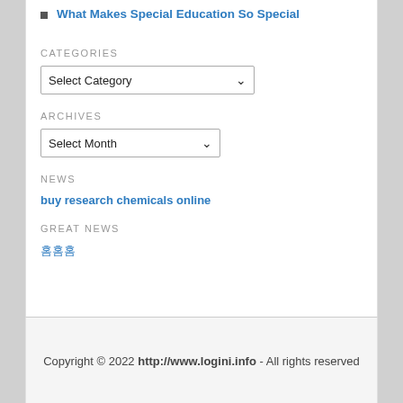What Makes Special Education So Special
CATEGORIES
Select Category
ARCHIVES
Select Month
NEWS
buy research chemicals online
GREAT NEWS
홈홈홈
Copyright © 2022 http://www.logini.info - All rights reserved